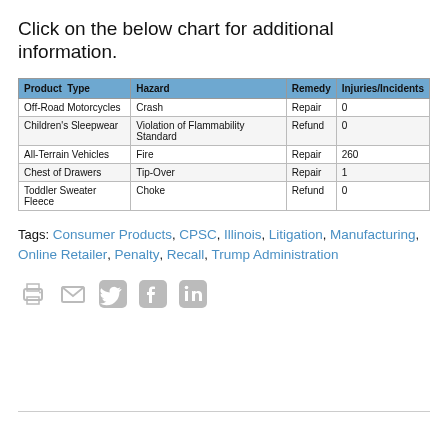Click on the below chart for additional information.
| Product Type | Hazard | Remedy | Injuries/Incidents |
| --- | --- | --- | --- |
| Off-Road Motorcycles | Crash | Repair | 0 |
| Children's Sleepwear | Violation of Flammability Standard | Refund | 0 |
| All-Terrain Vehicles | Fire | Repair | 260 |
| Chest of Drawers | Tip-Over | Repair | 1 |
| Toddler Sweater Fleece | Choke | Refund | 0 |
Tags: Consumer Products, CPSC, Illinois, Litigation, Manufacturing, Online Retailer, Penalty, Recall, Trump Administration
[Figure (infographic): Social share icons: print, email, Twitter, Facebook, LinkedIn]